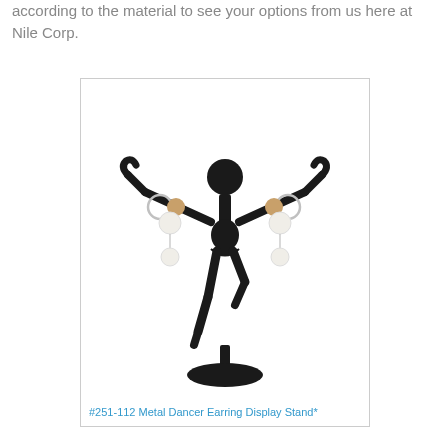according to the material to see your options from us here at Nile Corp.
[Figure (photo): A black metal dancer-shaped earring display stand holding two pairs of dangle earrings with pearl drops and metallic beads.]
#251-112 Metal Dancer Earring Display Stand*